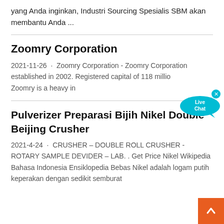yang Anda inginkan, Industri Sourcing Spesialis SBM akan membantu Anda ...
Zoomry Corporation
2021-11-26 · Zoomry Corporation - Zoomry Corporation established in 2002. Registered capital of 118 million. Zoomry is a heavy in
Pulverizer Preparasi Bijih Nikel Double Beijing Crusher
2021-4-24 · CRUSHER – DOUBLE ROLL CRUSHER - ROTARY SAMPLE DEVIDER – LAB. . Get Price Nikel Wikipedia Bahasa Indonesia Ensiklopedia Bebas Nikel adalah logam putih keperakan dengan sedikit semburat